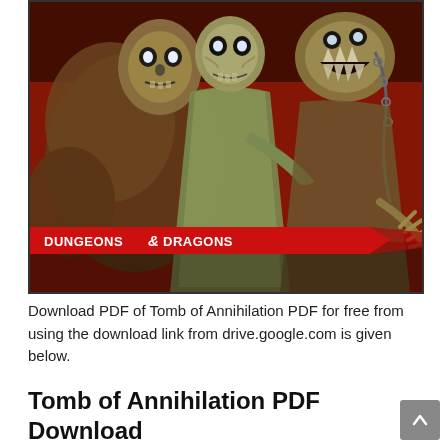[Figure (illustration): Dungeons & Dragons fantasy artwork showing undead zombie/lich creatures with glowing eyes against a dark red background, with the Dungeons & Dragons logo badge in the lower left corner]
Download PDF of Tomb of Annihilation PDF for free from using the download link from drive.google.com is given below.
Tomb of Annihilation PDF Download Link